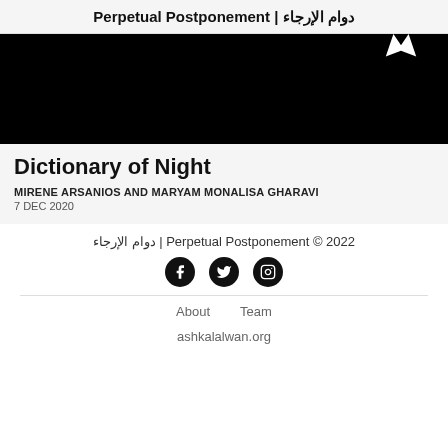Perpetual Postponement | دوام الإرجاء
[Figure (photo): Dark/black image with a white butterfly or bird silhouette visible in the upper right area]
Dictionary of Night
MIRENE ARSANIOS AND MARYAM MONALISA GHARAVI
7 DEC 2020
دوام الإرجاء | Perpetual Postponement © 2022
About   Team
ashkalalwan.org